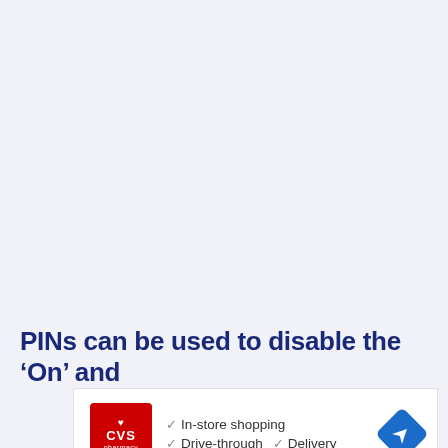PINs can be used to disable the ‘On’ and ‘Don’t remember this device’ options.
[Figure (other): CVS Pharmacy advertisement showing: CVS Pharmacy logo (red square with heart and text), checkmark list with 'In-store shopping', 'Drive-through', 'Delivery', and a blue diamond navigation arrow icon. Below the ad are play and close control icons.]